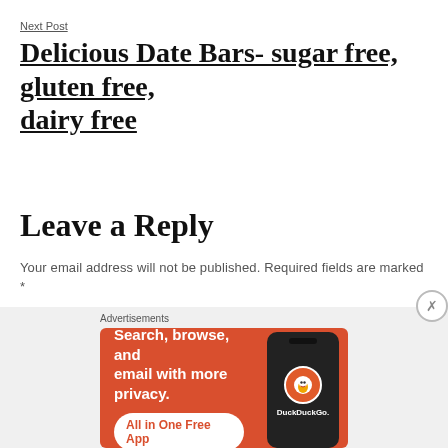Next Post
Delicious Date Bars- sugar free, gluten free, dairy free
Leave a Reply
Your email address will not be published. Required fields are marked *
Comment *
[Figure (other): DuckDuckGo advertisement banner: orange background with text 'Search, browse, and email with more privacy. All in One Free App' and a phone image with DuckDuckGo logo]